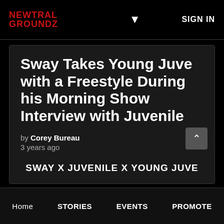NEWTRAL GROUNDZ | SIGN IN
Sway Takes Young Juve with a Freestyle During his Morning Show Interview with Juvenile
by Corey Bureau
3 years ago
SWAY X JUVENILE X YOUNG JUVE
Now some of you guys might be a little young to
Home  STORIES  EVENTS  PROMOTE